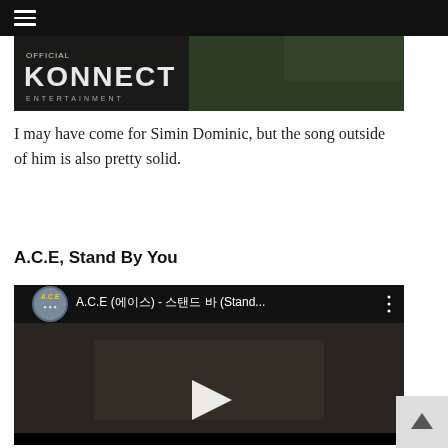☰
[Figure (screenshot): Official KONNECT entertainment banner with dark background and text 'OFFICIAL KONNECT ENTERTAINMENT']
I may have come for Simin Dominic, but the song outside of him is also pretty solid.
A.C.E, Stand By You
[Figure (screenshot): YouTube video embed showing A.C.E (에이스) - 스탠드 바이 유 (Stand...) with play button, channel icon showing A.C.E logo, and three-dot menu icon]